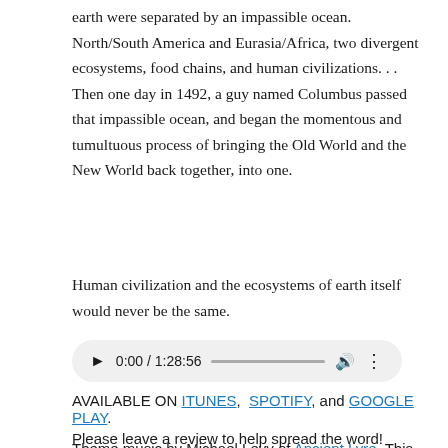earth were separated by an impassible ocean. North/South America and Eurasia/Africa, two divergent ecosystems, food chains, and human civilizations. . . Then one day in 1492, a guy named Columbus passed that impassible ocean, and began the momentous and tumultuous process of bringing the Old World and the New World back together, into one.
Human civilization and the ecosystems of earth itself would never be the same.
[Figure (other): Audio player widget showing 0:00 / 1:28:56 with play button, progress bar, volume icon, and options icon]
AVAILABLE ON ITUNES, SPOTIFY, and GOOGLE PLAY. Please leave a review to help spread the word!
Theme music by Michael Levy of Ancient Lyre. This rendition